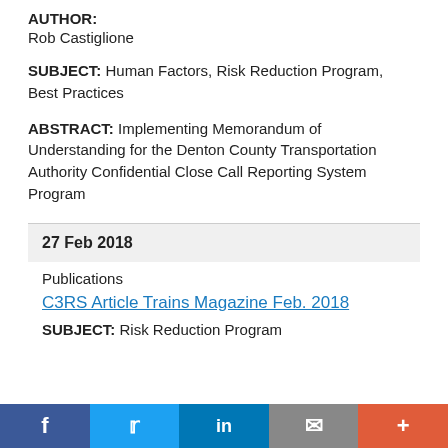AUTHOR:
Rob Castiglione
SUBJECT: Human Factors, Risk Reduction Program, Best Practices
ABSTRACT: Implementing Memorandum of Understanding for the Denton County Transportation Authority Confidential Close Call Reporting System Program
27 Feb 2018
Publications
C3RS Article Trains Magazine Feb. 2018
SUBJECT: Risk Reduction Program
f  Twitter  in  Email  +